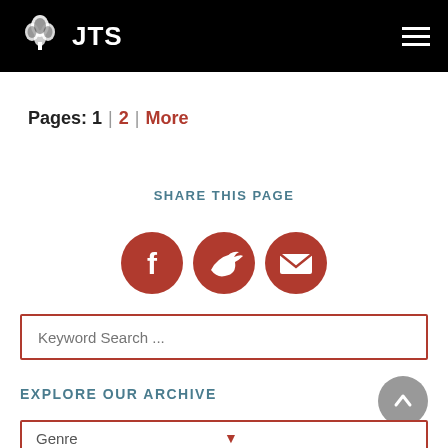JTS
Pages: 1 | 2 | More
SHARE THIS PAGE
[Figure (infographic): Three circular social share icons (Facebook, Twitter, Email) in dark red/crimson color with white icons]
Keyword Search ...
EXPLORE OUR ARCHIVE
Genre